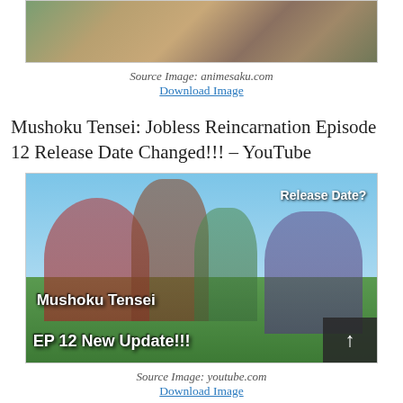[Figure (illustration): Anime character illustration from animesaku.com, partially cropped at top]
Source Image: animesaku.com
Download Image
Mushoku Tensei: Jobless Reincarnation Episode 12 Release Date Changed!!! – YouTube
[Figure (screenshot): YouTube thumbnail showing Mushoku Tensei anime characters with text 'Release Date?', 'Mushoku Tensei', and 'EP 12 New Update!!!']
Source Image: youtube.com
Download Image